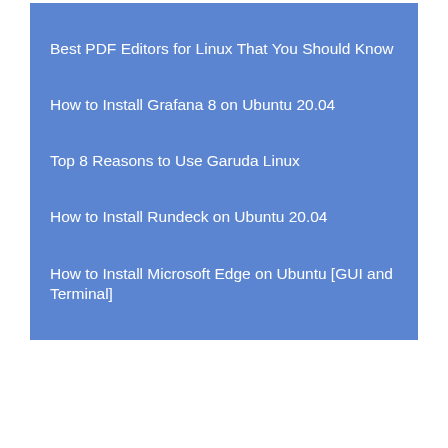Best PDF Editors for Linux That You Should Know
How to Install Grafana 8 on Ubuntu 20.04
Top 8 Reasons to Use Garuda Linux
How to Install Rundeck on Ubuntu 20.04
How to Install Microsoft Edge on Ubuntu [GUI and Terminal]